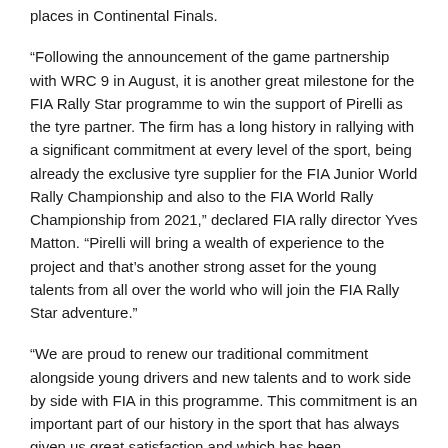places in Continental Finals.
“Following the announcement of the game partnership with WRC 9 in August, it is another great milestone for the FIA Rally Star programme to win the support of Pirelli as the tyre partner. The firm has a long history in rallying with a significant commitment at every level of the sport, being already the exclusive tyre supplier for the FIA Junior World Rally Championship and also to the FIA World Rally Championship from 2021,” declared FIA rally director Yves Matton. “Pirelli will bring a wealth of experience to the project and that’s another strong asset for the young talents from all over the world who will join the FIA Rally Star adventure.”
“We are proud to renew our traditional commitment alongside young drivers and new talents and to work side by side with FIA in this programme. This commitment is an important part of our history in the sport that has always given us great satisfaction and which has been appreciated by enthusiasts. Planning and supporting the future of rallying